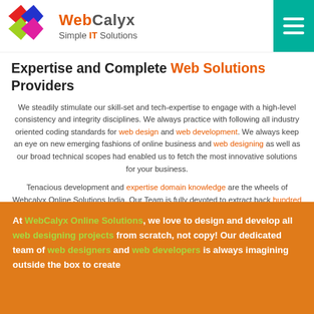WebCalyx Simple IT Solutions
Expertise and Complete Web Solutions Providers
We steadily stimulate our skill-set and tech-expertise to engage with a high-level consistency and integrity disciplines. We always practice with following all industry oriented coding standards for web design and web development. We always keep an eye on new emerging fashions of online business and web designing as well as our broad technical scopes had enabled us to fetch the most innovative solutions for your business.
Tenacious development and expertise domain knowledge are the wheels of Webcalyx Online Solutions India. Our Team is fully devoted to extract back hundred percent values for your money. This pledge has made us a global IT player with embracing of more than 600 respected clients.
At WebCalyx Online Solutions, we love to design and develop all web designing projects from scratch, not copy! Our dedicated team of web designers and web developers is always imagining outside the box to create